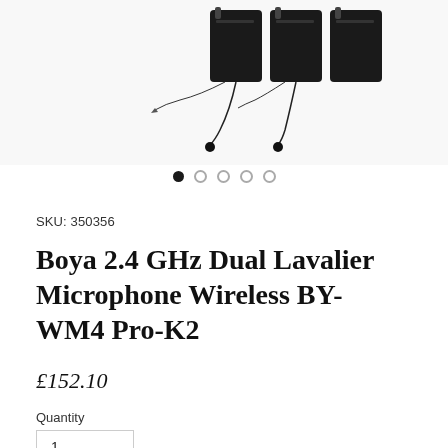[Figure (photo): Product image of Boya 2.4 GHz Dual Lavalier Microphone Wireless BY-WM4 Pro-K2 showing multiple transmitters and microphones on a white background]
SKU: 350356
Boya 2.4 GHz Dual Lavalier Microphone Wireless BY-WM4 Pro-K2
£152.10
Quantity
1